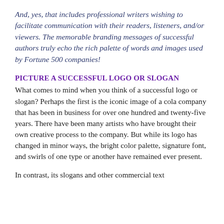And, yes, that includes professional writers wishing to facilitate communication with their readers, listeners, and/or viewers.  The memorable branding messages of successful authors truly echo the rich palette of words and images used by Fortune 500 companies!
PICTURE A SUCCESSFUL LOGO OR SLOGAN
What comes to mind when you think of a successful logo or slogan?  Perhaps the first is the iconic image of a cola company that has been in business for over one hundred and twenty-five years.  There have been many artists who have brought their own creative process to the company.  But while its logo has changed in minor ways, the bright color palette, signature font, and swirls of one type or another have remained ever present.
In contrast, its slogans and other commercial text